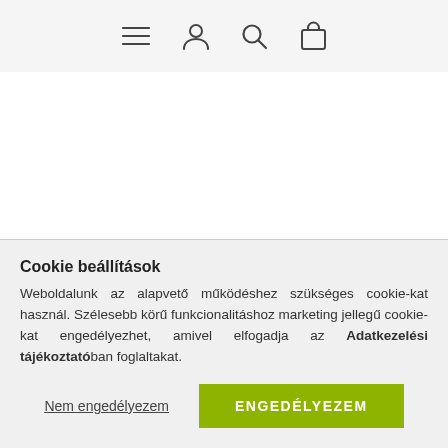Navigation bar with menu, user, search, and cart icons
TANÚSÍTVÁNY
Cookie beállítások
Weboldalunk az alapvető működéshez szükséges cookie-kat használ. Szélesebb körű funkcionalitáshoz marketing jellegű cookie-kat engedélyezhet, amivel elfogadja az Adatkezelési tájékoztatóban foglaltakat.
Nem engedélyezem | ENGEDÉLYEZEM